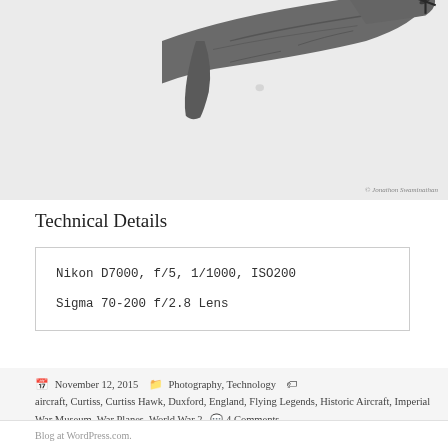[Figure (photo): Underside view of a vintage WWII-era aircraft (Curtiss Hawk) in flight against a light background, with propeller visible at top right and wing underside detail. Copyright watermark reads '© Jonathon Swaminathan'.]
Technical Details
Nikon D7000, f/5, 1/1000, ISO200

Sigma 70-200 f/2.8 Lens
November 12, 2015  Photography, Technology  aircraft, Curtiss, Curtiss Hawk, Duxford, England, Flying Legends, Historic Aircraft, Imperial War Museum, War Planes, World War 2  4 Comments
Blog at WordPress.com.